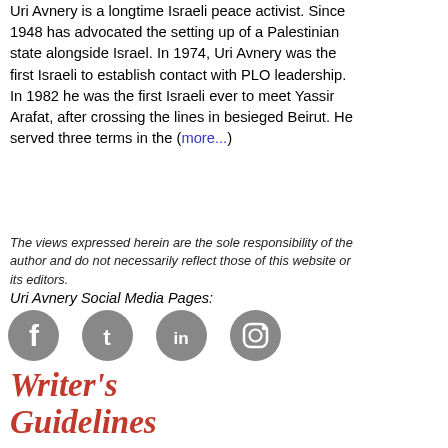Uri Avnery is a longtime Israeli peace activist. Since 1948 has advocated the setting up of a Palestinian state alongside Israel. In 1974, Uri Avnery was the first Israeli to establish contact with PLO leadership. In 1982 he was the first Israeli ever to meet Yassir Arafat, after crossing the lines in besieged Beirut. He served three terms in the (more...)
The views expressed herein are the sole responsibility of the author and do not necessarily reflect those of this website or its editors.
Uri Avnery Social Media Pages:
[Figure (illustration): Four social media icons: Facebook, Twitter, LinkedIn, Instagram]
[Figure (logo): Writer's Guidelines logo in red italic script]
Related Topic(s): Anti-democratic; Boycott; Israel; Israeli Settlement; Palestine and Israel, Add Tags
[Figure (illustration): Contact Author button with mail icon]
[Figure (illustration): Contact Editor button with mail icon]
[Figure (illustration): View Authors' Articles button with share icon]
[Figure (illustration): Support OpEdNews button with Visa/Mastercard icons, blue rounded rectangle button]